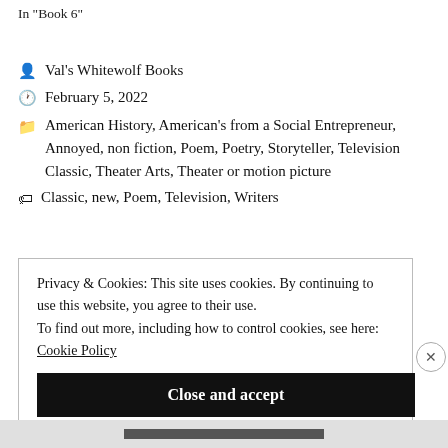In "Book 6"
Val's Whitewolf Books
February 5, 2022
American History, American's from a Social Entrepreneur, Annoyed, non fiction, Poem, Poetry, Storyteller, Television Classic, Theater Arts, Theater or motion picture
Classic, new, Poem, Television, Writers
Privacy & Cookies: This site uses cookies. By continuing to use this website, you agree to their use. To find out more, including how to control cookies, see here: Cookie Policy
Close and accept